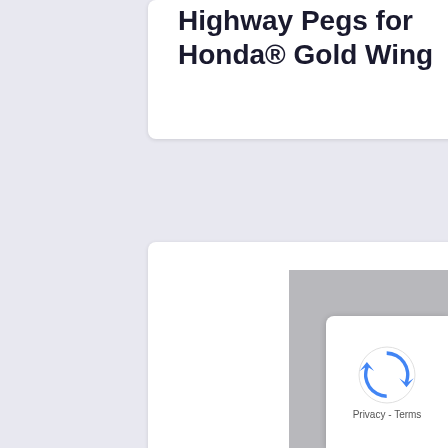Highway Pegs for Honda® Gold Wing
$379.95
[Figure (photo): RIVCO aluminum trailer hitch product photo showing polished aluminum hitch assembly with mounting hardware on gray background]
RIVCO Aluminum Trailer Hitch for 2012-